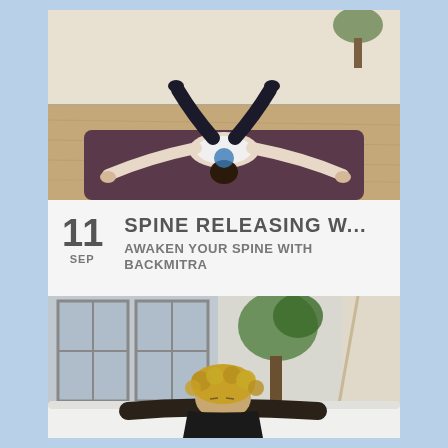[Figure (photo): Person performing a yoga pose face-down on a dark mat on a wooden floor, arms stretched forward, using a yoga wheel under their torso]
SPINE RELEASING W...
11 SEP  AWAKEN YOUR SPINE WITH BACKMITRA
[Figure (photo): Person with curly hair resting their head on their arms on a white surface, with a plant and large windows in the background]